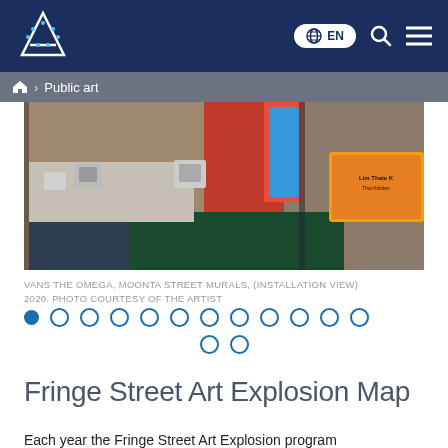Adelaide City Council website header with logo, language selector (EN), search, and menu icons
> Public art
[Figure (photo): Street art mural installation view showing brick wall with colorful murals, rooftop HVAC units, and a restaurant sign on the right]
VANS THE OMEGA, MOONTA STREET MURALS, (INSTALLATION VIEW) 2020. PHOTO COURTESY OF THE ARTIST
[Figure (infographic): Carousel navigation dots — 14 total, first one filled/active, rest are outlines]
Fringe Street Art Explosion Map
Each year the Fringe Street Art Explosion program